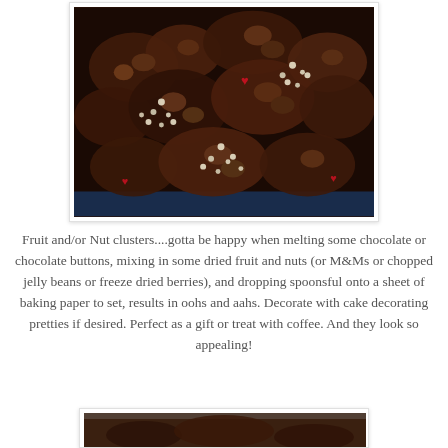[Figure (photo): Photo of chocolate fruit and/or nut clusters decorated with small white pearl sprinkles and red heart decorations, arranged in a blue container]
Fruit and/or Nut clusters....gotta be happy when melting some chocolate or chocolate buttons, mixing in some dried fruit and nuts (or M&Ms or chopped jelly beans or freeze dried berries), and dropping spoonsful onto a sheet of baking paper to set, results in oohs and aahs. Decorate with cake decorating pretties if desired. Perfect as a gift or treat with coffee. And they look so appealing!
[Figure (photo): Partial photo visible at bottom of page, appears to show more food items]